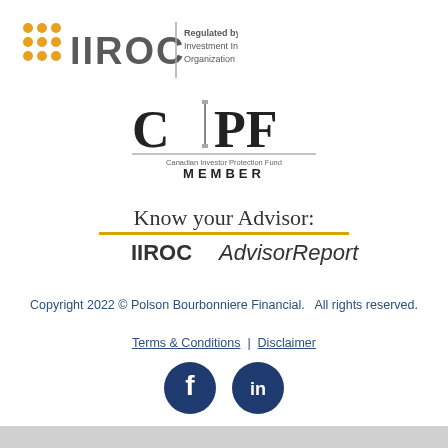[Figure (logo): IIROC logo with gold dot grid and gray IIROC text, vertical bar separator, and text: Regulated by Investment Industry Regulatory Organization of Canada]
[Figure (logo): CIPF Canadian Investor Protection Fund MEMBER logo with column graphic]
[Figure (logo): Know your Advisor: IIROC AdvisorReport logo with gold underline]
Copyright 2022 © Polson Bourbonniere Financial.   All rights reserved.
Terms & Conditions  |  Disclaimer
[Figure (logo): Facebook and LinkedIn social media icon circles in dark navy blue]